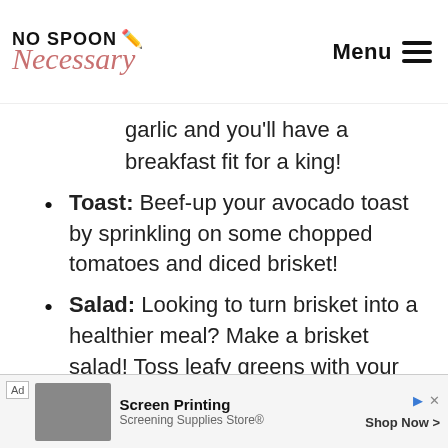No Spoon Necessary | Menu
garlic and you'll have a breakfast fit for a king!
Toast: Beef-up your avocado toast by sprinkling on some chopped tomatoes and diced brisket!
Salad: Looking to turn brisket into a healthier meal? Make a brisket salad! Toss leafy greens with your favorite veggies and
[Figure (screenshot): Advertisement banner for Screen Printing / Screening Supplies Store with Shop Now button]